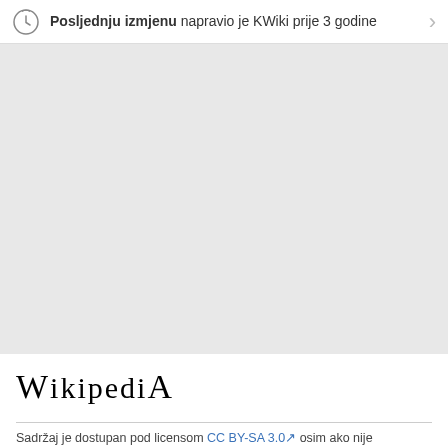Posljednju izmjenu napravio je KWiki prije 3 godine
[Figure (other): Large grey empty content area, likely a placeholder for an image or map that did not load]
Wikipedia
Sadržaj je dostupan pod licensom CC BY-SA 3.0 osim ako nije